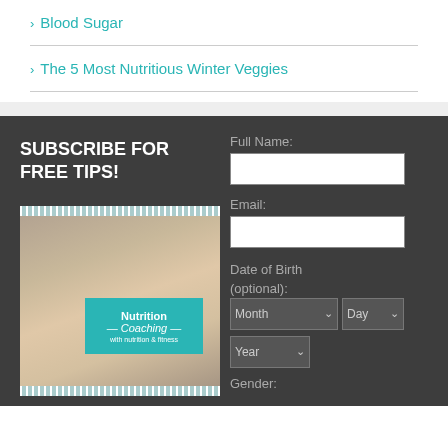Blood Sugar
The 5 Most Nutritious Winter Veggies
SUBSCRIBE FOR FREE TIPS!
[Figure (photo): Woman in fitness attire with a nutrition coaching book/guide, with a teal badge reading 'Nutrition Coaching']
Full Name:
Email:
Date of Birth (optional):
Gender: